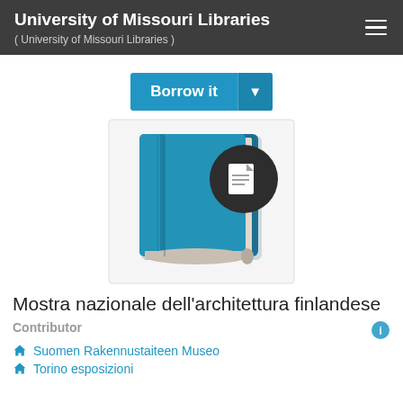University of Missouri Libraries
( University of Missouri Libraries )
[Figure (screenshot): Borrow it button with dropdown arrow in blue]
[Figure (illustration): Book icon illustration with a physical book and a small notebook badge overlay]
Mostra nazionale dell'architettura finlandese
Contributor
Suomen Rakennustaiteen Museo
Torino esposizioni